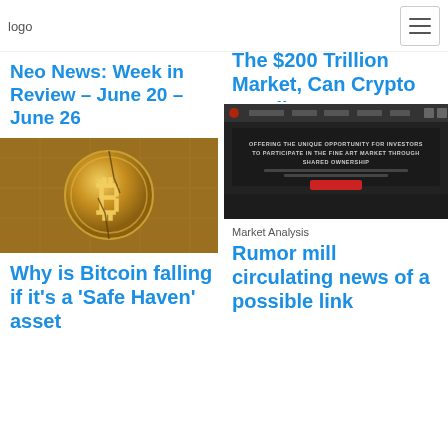logo
Neo News: Week in Review – June 20 – June 26
[Figure (photo): Gold Bitcoin coin with circuit board background and crack lines]
Why is Bitcoin falling if it's a 'Safe Haven' asset
The $200 Trillion Market, Can Crypto Handle It?
[Figure (screenshot): Dark website screenshot with text: OFFERING THE UNIQUE OPPORTUNITY FOR INVESTORS TO PARTICIPATE IN THE FINE ART MARKET THROUGH SHARED OWNERSHIP, with a red button]
Market Analysis
Rumor mill circulating news of a possible link